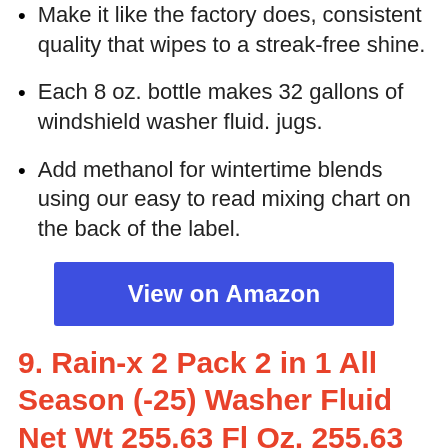Make it like the factory does, consistent quality that wipes to a streak-free shine.
Each 8 oz. bottle makes 32 gallons of windshield washer fluid. jugs.
Add methanol for wintertime blends using our easy to read mixing chart on the back of the label.
View on Amazon
9. Rain-x 2 Pack 2 in 1 All Season (-25) Washer Fluid Net Wt 255.63 Fl Oz, 255.63 Fluid Ounce